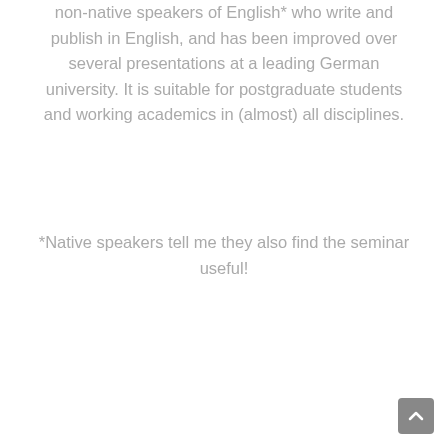non-native speakers of English* who write and publish in English, and has been improved over several presentations at a leading German university. It is suitable for postgraduate students and working academics in (almost) all disciplines.
*Native speakers tell me they also find the seminar useful!